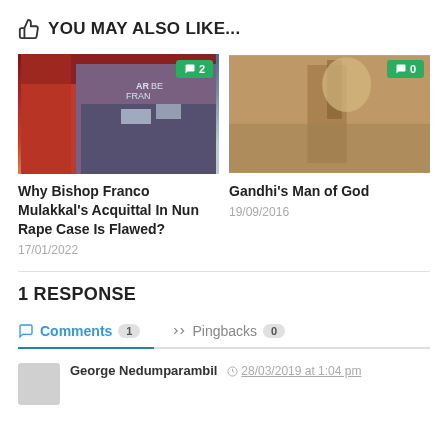YOU MAY ALSO LIKE...
[Figure (photo): Left article thumbnail showing Bishop Franco Mulakkal and nuns protesting with signs, with a comment badge showing '2'. Right thumbnail showing a sepia-toned historical photo of a man carrying a wooden cross, with a comment badge showing '0'.]
Why Bishop Franco Mulakkal's Acquittal In Nun Rape Case Is Flawed?
17/01/2022
Gandhi's Man of God
19/09/2016
1 RESPONSE
Comments 1   Pingbacks 0
George Nedumparambil  28/03/2019 at 1:04 pm